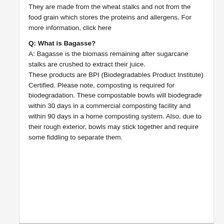They are made from the wheat stalks and not from the food grain which stores the proteins and allergens. For more information, click here
Q: What is Bagasse?
A: Bagasse is the biomass remaining after sugarcane stalks are crushed to extract their juice. These products are BPI (Biodegradables Product Institute) Certified. Please note, composting is required for biodegradation. These compostable bowls will biodegrade within 30 days in a commercial composting facility and within 90 days in a home composting system. Also, due to their rough exterior, bowls may stick together and require some fiddling to separate them.